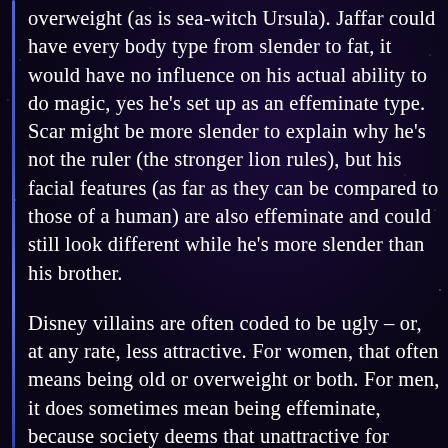overweight (as is sea-witch Ursula). Jaffar could have every body type from slender to fat, it would have no influence on his actual ability to do magic, yes he's set up as an effeminate type. Scar might be more slender to explain why he's not the ruler (the stronger lion rules), but his facial features (as far as they can be compared to those of a human) are also effeminate and could still look different while he's more slender than his brother.
Disney villains are often coded to be ugly – or, at any rate, less attractive. For women, that often means being old or overweight or both. For men, it does sometimes mean being effeminate, because society deems that unattractive for